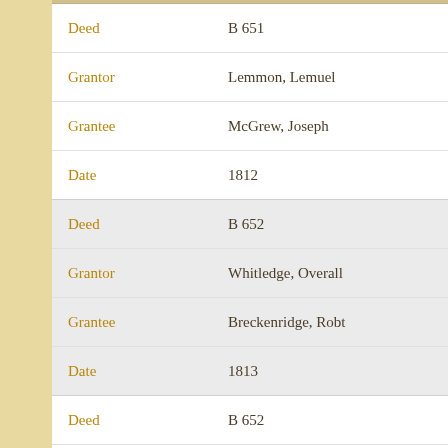| Field | Value |
| --- | --- |
| Deed | B 651 |
| Grantor | Lemmon, Lemuel |
| Grantee | McGrew, Joseph |
| Date | 1812 |
| Deed | B 652 |
| Grantor | Whitledge, Overall |
| Grantee | Breckenridge, Robt |
| Date | 1813 |
| Deed | B 652 |
| Grantor | Whitledge, Overall |
| Grantee | Pope, W'm & Worden |
| Date | 1813 |